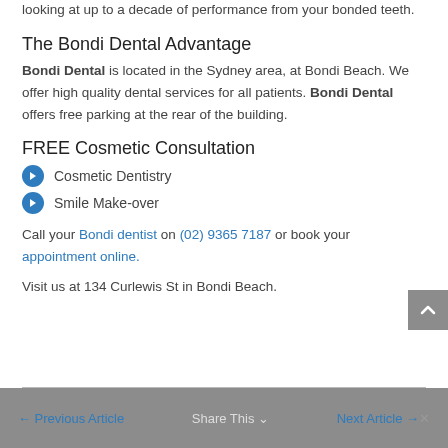looking at up to a decade of performance from your bonded teeth.
The Bondi Dental Advantage
Bondi Dental is located in the Sydney area, at Bondi Beach. We offer high quality dental services for all patients. Bondi Dental offers free parking at the rear of the building.
FREE Cosmetic Consultation
Cosmetic Dentistry
Smile Make-over
Call your Bondi dentist on (02) 9365 7187 or book your appointment online.
Visit us at 134 Curlewis St in Bondi Beach.
← Previous Article   Share This ∨   Next Article →✕